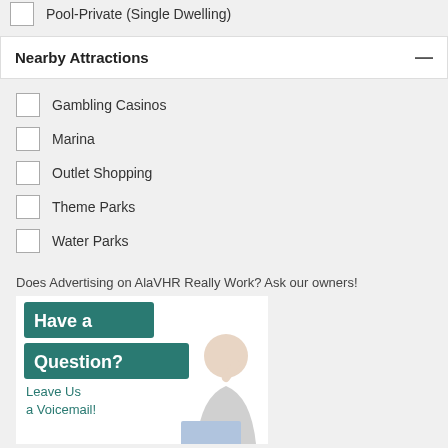Pool-Private (Single Dwelling)
Nearby Attractions
Gambling Casinos
Marina
Outlet Shopping
Theme Parks
Water Parks
Does Advertising on AlaVHR Really Work? Ask our owners!
[Figure (illustration): Advertisement banner with teal/green background text boxes reading 'Have a Question?' and 'Leave Us a Voicemail!' with a woman sitting at a laptop smiling and holding a phone]